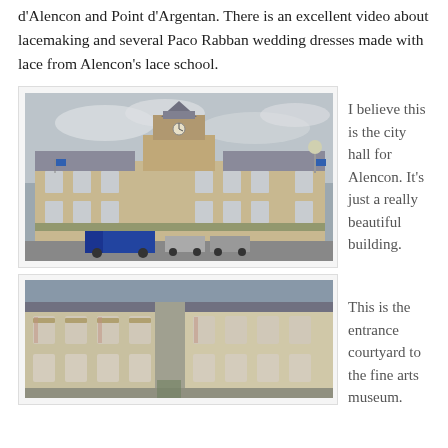d'Alencon and Point d'Argentan. There is an excellent video about lacemaking and several Paco Rabban wedding dresses made with lace from Alencon's lace school.
[Figure (photo): Photograph of the city hall of Alencon, a large classical stone building with clock tower, flags, and parked vehicles in front.]
I believe this is the city hall for Alencon. It's just a really beautiful building.
[Figure (photo): Photograph of the entrance courtyard to the fine arts museum, showing a large stone building with arched windows.]
This is the entrance courtyard to the fine arts museum.